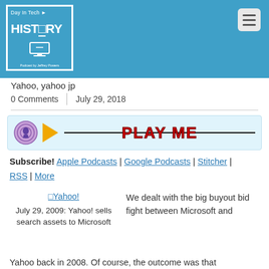[Figure (logo): Day in Tech HISTORY podcast logo with monitor icon, blue background, white border, text 'Podcast by Jeffrey Powers']
Day in Tech HISTORY - navigation menu icon top right
Yahoo, yahoo jp
0 Comments | July 29, 2018
[Figure (other): Podcast audio player with podcast icon, orange play button triangle, horizontal black line, and red stylized 'PLAY ME' text on light blue background]
Subscribe! Apple Podcasts | Google Podcasts | Stitcher | RSS | More
[Figure (other): Yahoo! image link placeholder]
July 29, 2009: Yahoo! sells search assets to Microsoft
We dealt with the big buyout bid fight between Microsoft and
Yahoo back in 2008. Of course, the outcome was that